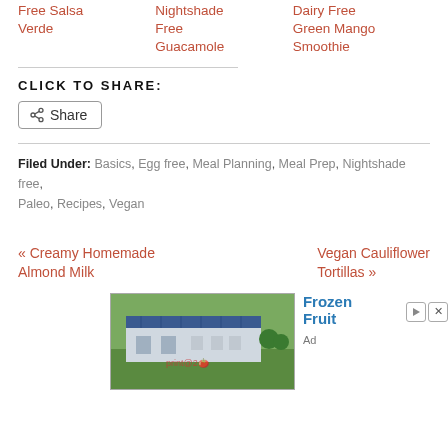Free Salsa Verde
Nightshade Free Guacamole
Dairy Free Green Mango Smoothie
CLICK TO SHARE:
[Figure (other): Share button with share icon]
Filed Under: Basics, Egg free, Meal Planning, Meal Prep, Nightshade free, Paleo, Recipes, Vegan
« Creamy Homemade Almond Milk
Vegan Cauliflower Tortillas »
[Figure (photo): Advertisement showing a large warehouse/industrial building with solar panels on roof, labeled Frozen Fruit]